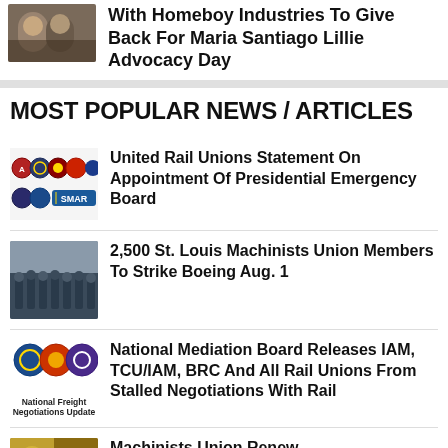[Figure (photo): Two people posing together outdoors, partial view at top of page]
With Homeboy Industries To Give Back For Maria Santiago Lillie Advocacy Day
MOST POPULAR NEWS / ARTICLES
[Figure (logo): United Rail Unions logos — multiple union emblems arranged in two rows including SMART]
United Rail Unions Statement On Appointment Of Presidential Emergency Board
[Figure (photo): Group of workers standing together in a line, Machinists Union members]
2,500 St. Louis Machinists Union Members To Strike Boeing Aug. 1
[Figure (logo): National Freight Negotiations Update logos — three union circular emblems and label]
National Mediation Board Releases IAM, TCU/IAM, BRC And All Rail Unions From Stalled Negotiations With Rail
[Figure (photo): Partial photo at bottom, appears to show yellow/gold colored subject]
Machinists Union Renew...